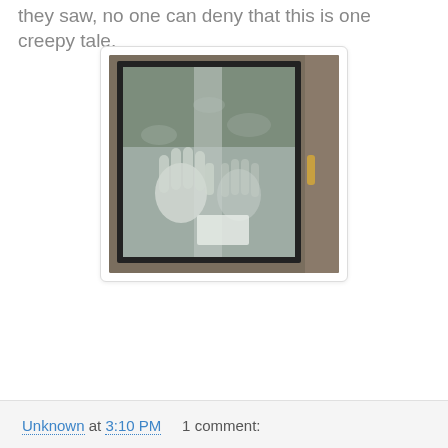they saw, no one can deny that this is one creepy tale.
[Figure (photo): A foggy or steamed-up glass window/door panel framed in black, showing ghostly handprints pressed against the glass. The door frame is brown/tan colored wood, with a door handle visible on the right side.]
Unknown at 3:10 PM    1 comment: